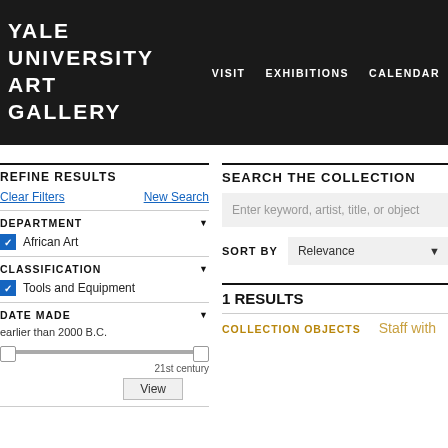YALE UNIVERSITY ART GALLERY — VISIT EXHIBITIONS CALENDAR
REFINE RESULTS
Clear Filters   New Search
DEPARTMENT
African Art
CLASSIFICATION
Tools and Equipment
DATE MADE
earlier than 2000 B.C.
21st century
View
SEARCH THE COLLECTION
Enter keyword, artist, title, or object
SORT BY   Relevance
1 RESULTS
COLLECTION OBJECTS   Staff with